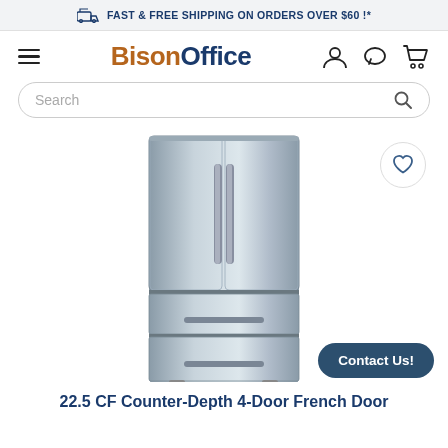FAST & FREE SHIPPING ON ORDERS OVER $60 !*
[Figure (logo): BisonOffice logo with hamburger menu icon and navigation icons (user, chat, cart)]
[Figure (other): Search bar with placeholder text 'Search' and magnifying glass icon]
[Figure (photo): 22.5 CF Counter-Depth 4-Door French Door refrigerator in stainless steel, with wishlist heart button and Contact Us button]
22.5 CF Counter-Depth 4-Door French Door